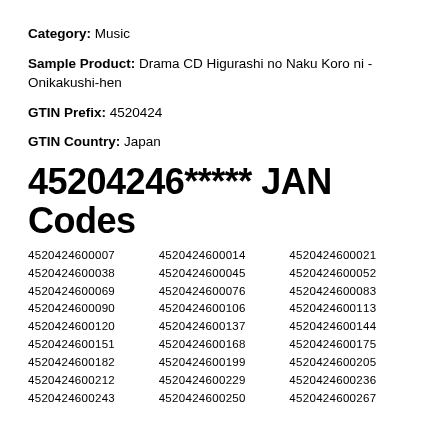Category: Music
Sample Product: Drama CD Higurashi no Naku Koro ni - Onikakushi-hen
GTIN Prefix: 4520424
GTIN Country: Japan
45204246***** JAN Codes
4520424600007 4520424600014 4520424600021
4520424600038 4520424600045 4520424600052
4520424600069 4520424600076 4520424600083
4520424600090 4520424600106 4520424600113
4520424600120 4520424600137 4520424600144
4520424600151 4520424600168 4520424600175
4520424600182 4520424600199 4520424600205
4520424600212 4520424600229 4520424600236
4520424600243 4520424600250 4520424600267